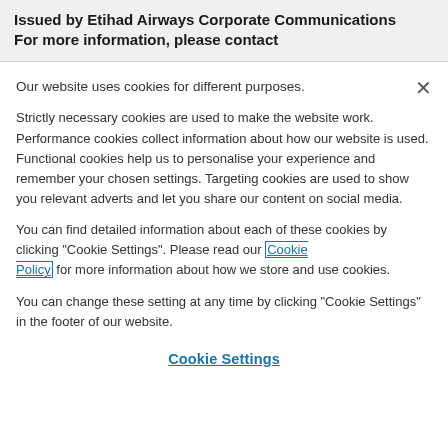Issued by Etihad Airways Corporate Communications
For more information, please contact
Our website uses cookies for different purposes.
Strictly necessary cookies are used to make the website work. Performance cookies collect information about how our website is used. Functional cookies help us to personalise your experience and remember your chosen settings. Targeting cookies are used to show you relevant adverts and let you share our content on social media.
You can find detailed information about each of these cookies by clicking "Cookie Settings". Please read our Cookie Policy for more information about how we store and use cookies.
You can change these setting at any time by clicking "Cookie Settings" in the footer of our website.
Cookie Settings